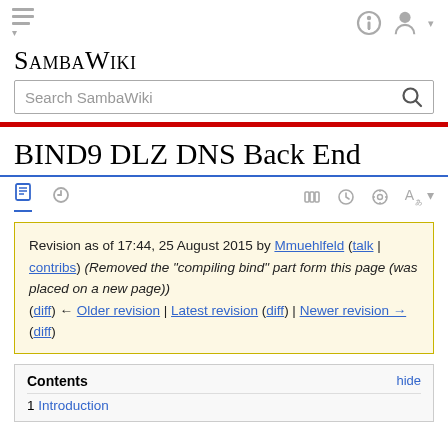SambaWiki
BIND9 DLZ DNS Back End
Revision as of 17:44, 25 August 2015 by Mmuehlfeld (talk | contribs) (Removed the "compiling bind" part form this page (was placed on a new page)) (diff) ← Older revision | Latest revision (diff) | Newer revision → (diff)
Contents
1 Introduction